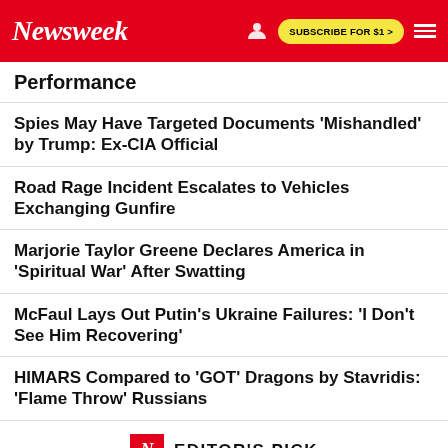Newsweek | SUBSCRIBE FOR $1 >
Performance
Spies May Have Targeted Documents 'Mishandled' by Trump: Ex-CIA Official
Road Rage Incident Escalates to Vehicles Exchanging Gunfire
Marjorie Taylor Greene Declares America in 'Spiritual War' After Swatting
McFaul Lays Out Putin's Ukraine Failures: 'I Don't See Him Recovering'
HIMARS Compared to 'GOT' Dragons by Stavridis: 'Flame Throw' Russians
EDITOR'S PICK
UKRAINE